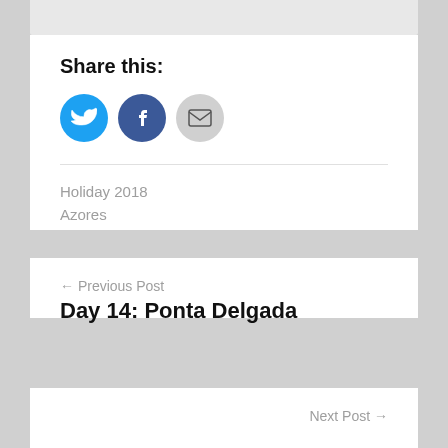Share this:
[Figure (illustration): Three social sharing icon buttons: Twitter (blue circle with bird icon), Facebook (blue circle with f icon), Email (grey circle with envelope icon)]
Holiday 2018
Azores
← Previous Post
Day 14: Ponta Delgada
Next Post →